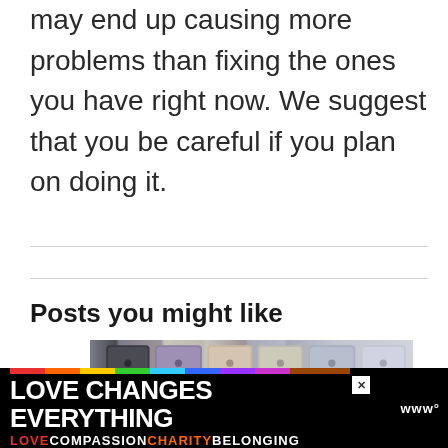may end up causing more problems than fixing the ones you have right now. We suggest that you be careful if you plan on doing it.
Posts you might like
[Figure (photo): Partial view of a row of smartphones in different colors (purple, black, beige/champagne, blue) standing upright]
[Figure (infographic): Advertisement banner with rainbow colored bar. Text reads 'LOVE CHANGES EVERYTHING' in white bold uppercase on black background. Below: 'LOVE' in red, 'COMPASSION' in white, 'CHARITY' in orange, 'BELONGING' in white. Has a close X button and a logo on the right.]